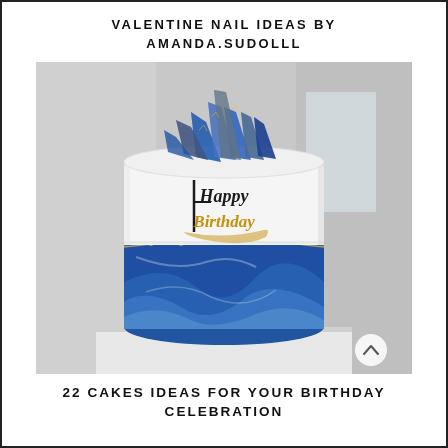VALENTINE NAIL IDEAS BY AMANDA.SUDOLLL
[Figure (photo): A decorated birthday cake with blue and white marble frosting on the lower half, white smooth frosting on the upper half with a stylized 'Happy Birthday' topper in black and gold script, topped with blue and gold marbled chocolate shards fanning out from the top. The cake sits on a white platform against a blurred grey background.]
22 CAKES IDEAS FOR YOUR BIRTHDAY CELEBRATION